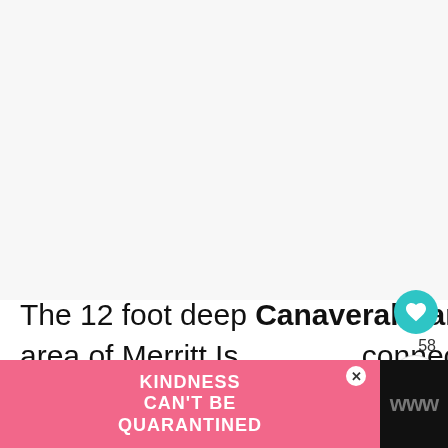[Figure (screenshot): Large white/light gray blank area occupying the upper portion of the page, likely a map or image placeholder.]
[Figure (infographic): Teal circular like button with heart icon, showing count of 58, and a share button below it on the right side.]
The 12 foot deep Canaveral Barge Canal bisects the central area of Merritt Island and connects the Indian River to the Banana River.
[Figure (screenshot): WHAT'S NEXT overlay panel showing thumbnail and title: Oak Hill, Florida: Day...]
[Figure (screenshot): Pink advertisement banner at the bottom reading KINDNESS CAN'T BE QUARANTINED with a close button and a W logo on the right.]